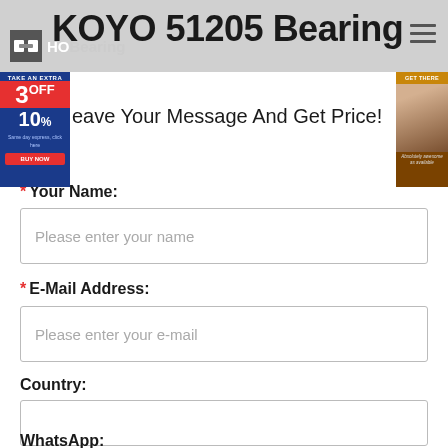KOYO 51205 Bearing — HOBearing
Leave Your Message And Get Price!
* Your Name:
Please enter your name
* E-Mail Address:
Please enter your e-mail
Country:
WhatsApp: